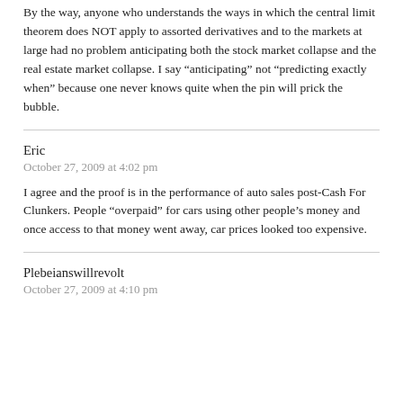By the way, anyone who understands the ways in which the central limit theorem does NOT apply to assorted derivatives and to the markets at large had no problem anticipating both the stock market collapse and the real estate market collapse. I say “anticipating” not “predicting exactly when” because one never knows quite when the pin will prick the bubble.
Eric
October 27, 2009 at 4:02 pm
I agree and the proof is in the performance of auto sales post-Cash For Clunkers. People “overpaid” for cars using other people’s money and once access to that money went away, car prices looked too expensive.
Plebeianswillrevolt
October 27, 2009 at 4:10 pm